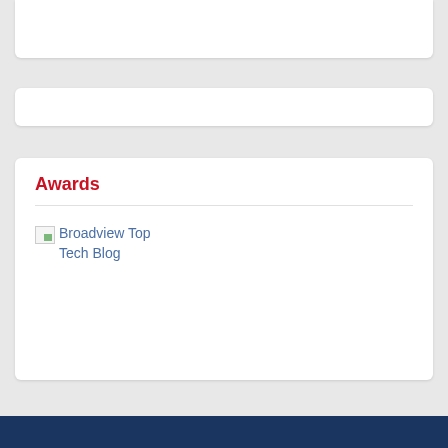Awards
[Figure (screenshot): Broken image placeholder for Broadview Top Tech Blog award badge]
Broadview Top Tech Blog